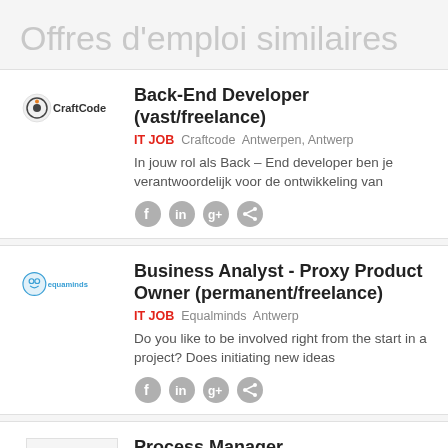Offres d'emploi similaires
Back-End Developer (vast/freelance)
IT JOB  Craftcode  Antwerpen, Antwerp
In jouw rol als Back – End developer ben je verantwoordelijk voor de ontwikkeling van
Business Analyst - Proxy Product Owner (permanent/freelance)
IT JOB  Equalminds  Antwerp
Do you like to be involved right from the start in a project? Does initiating new ideas
Process Manager